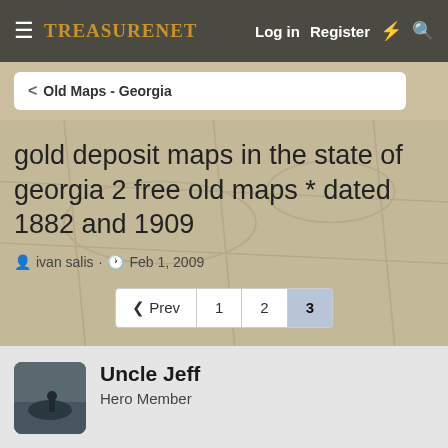TreasureNet  Log in  Register
< Old Maps - Georgia
gold deposit maps in the state of georgia 2 free old maps * dated 1882 and 1909
ivan salis · Feb 1, 2009
« Prev  1  2  3
Uncle Jeff
Hero Member
May 30, 2013